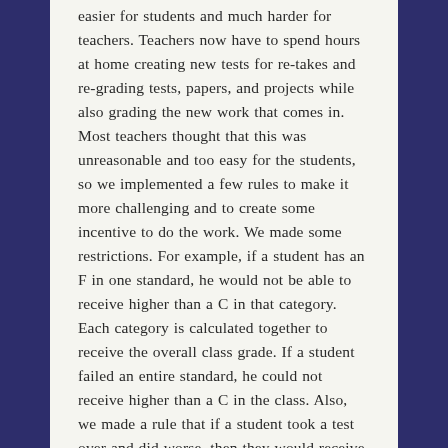easier for students and much harder for teachers. Teachers now have to spend hours at home creating new tests for re-takes and re-grading tests, papers, and projects while also grading the new work that comes in. Most teachers thought that this was unreasonable and too easy for the students, so we implemented a few rules to make it more challenging and to create some incentive to do the work. We made some restrictions. For example, if a student has an F in one standard, he would not be able to receive higher than a C in that category. Each category is calculated together to receive the overall class grade. If a student failed an entire standard, he could not receive higher than a C in the class. Also, we made a rule that if a student took a test over and did worse, then they would receive the most recent grade.
But Johnny didn't like that. Now it would be risky to keep taking the same tests over again without studying. In addition, Johnny didn't like it when he